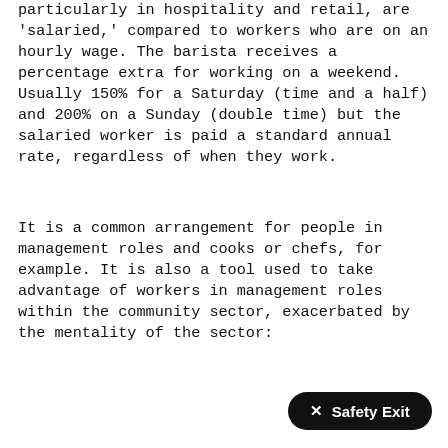particularly in hospitality and retail, are 'salaried,' compared to workers who are on an hourly wage. The barista receives a percentage extra for working on a weekend. Usually 150% for a Saturday (time and a half) and 200% on a Sunday (double time) but the salaried worker is paid a standard annual rate, regardless of when they work.
It is a common arrangement for people in management roles and cooks or chefs, for example. It is also a tool used to take advantage of workers in management roles within the community sector, exacerbated by the mentality of the sector: